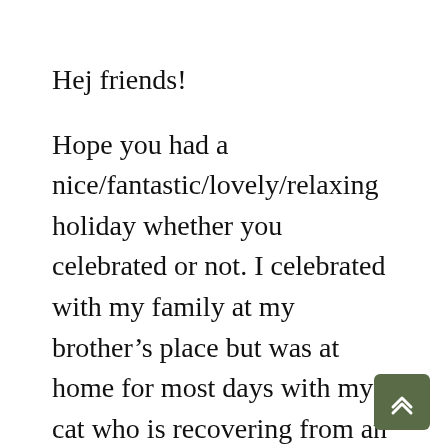Hej friends!
Hope you had a nice/fantastic/lovely/relaxing holiday whether you celebrated or not. I celebrated with my family at my brother’s place but was at home for most days with my cat who is recovering from an emergency surgery and can’t be left alone for longer periods yet (If you don’t follow me on instagram you will have missed this